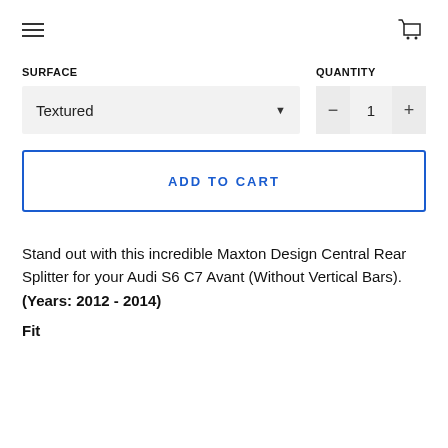navigation header with hamburger menu and cart icon
SURFACE
QUANTITY
Textured
1
ADD TO CART
Stand out with this incredible Maxton Design Central Rear Splitter for your Audi S6 C7 Avant (Without Vertical Bars). (Years: 2012 - 2014)
Fit